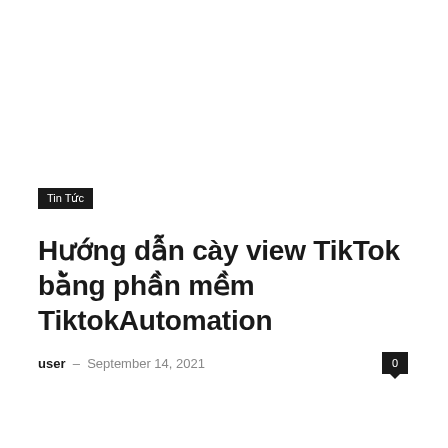Tin Tức
Hướng dẫn cày view TikTok bằng phần mềm TiktokAutomation
user – September 14, 2021   0